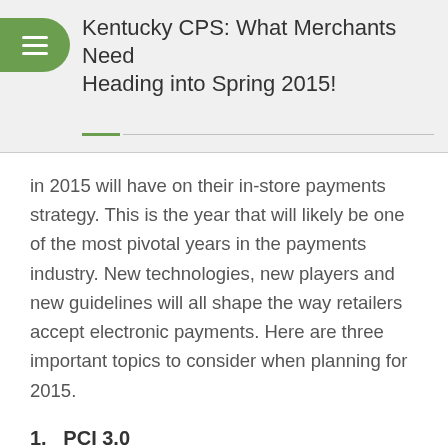Kentucky CPS: What Merchants Need Heading into Spring 2015!
in 2015 will have on their in-store payments strategy. This is the year that will likely be one of the most pivotal years in the payments industry. New technologies, new players and new guidelines will all shape the way retailers accept electronic payments. Here are three important topics to consider when planning for 2015.
1. PCI 3.0
The current PCI 2.0 guidelines sunset on Dec